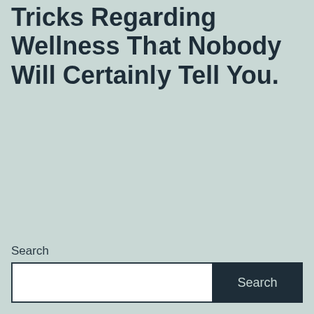Tricks Regarding Wellness That Nobody Will Certainly Tell You.
Search
Recent Posts
What I Desire Everybody Understood About Learning To Ride.
Features of Financial investment You Have To